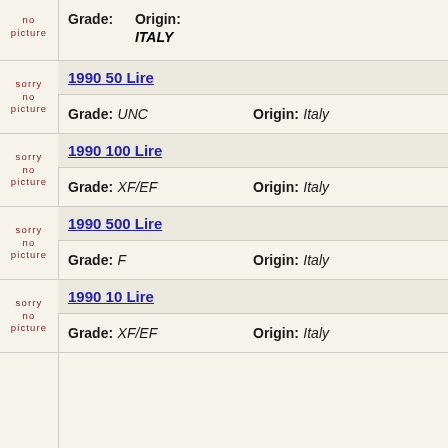sorry no picture
Grade:  Origin: ITALY
1990 50 Lire
Grade: UNC  Origin: Italy
1990 100 Lire
Grade: XF/EF  Origin: Italy
1990 500 Lire
Grade: F  Origin: Italy
1990 10 Lire
Grade: XF/EF  Origin: Italy